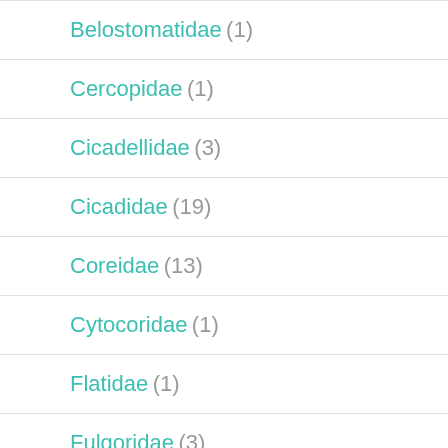Belostomatidae (1)
Cercopidae (1)
Cicadellidae (3)
Cicadidae (19)
Coreidae (13)
Cytocoridae (1)
Flatidae (1)
Fulgoridae (3)